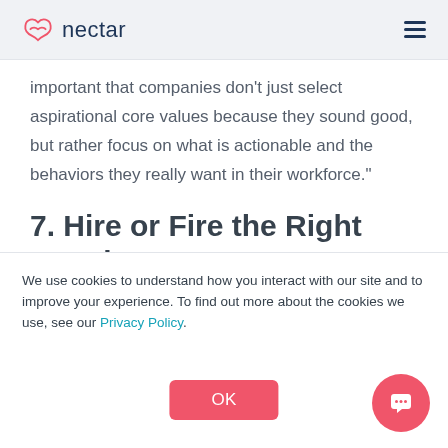nectar
important that companies don’t just select aspirational core values because they sound good, but rather focus on what is actionable and the behaviors they really want in their workforce.”
7. Hire or Fire the Right People
Companies should showcase their values right from the start of the employee lifecycle. This means that you
We use cookies to understand how you interact with our site and to improve your experience. To find out more about the cookies we use, see our Privacy Policy.
OK